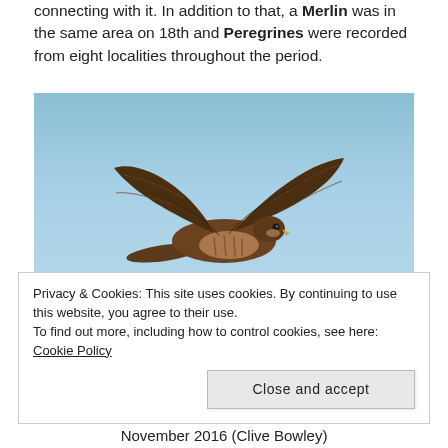connecting with it. In addition to that, a Merlin was in the same area on 18th and Peregrines were recorded from eight localities throughout the period.
[Figure (photo): A falcon (Peregrine or similar) in flight against a clear blue sky, wings spread, photographed from below/side. Brown streaked plumage visible.]
Privacy & Cookies: This site uses cookies. By continuing to use this website, you agree to their use.
To find out more, including how to control cookies, see here: Cookie Policy
November 2016 (Clive Bowley)